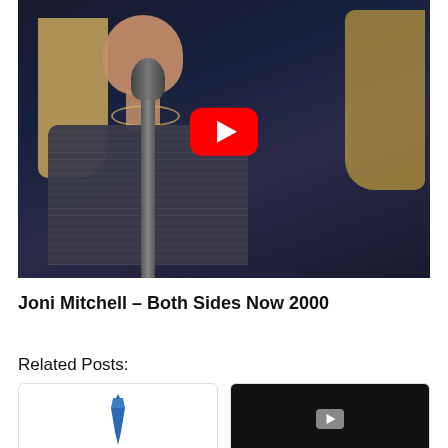[Figure (screenshot): YouTube video thumbnail showing a woman (Joni Mitchell) singing at a microphone, wearing a dark gray outfit with blonde hair, with a red YouTube play button overlay in the center]
Joni Mitchell – Both Sides Now 2000
Related Posts:
[Figure (illustration): Small card thumbnail showing a blue tie icon]
[Figure (screenshot): Small card thumbnail showing a dark video screenshot]